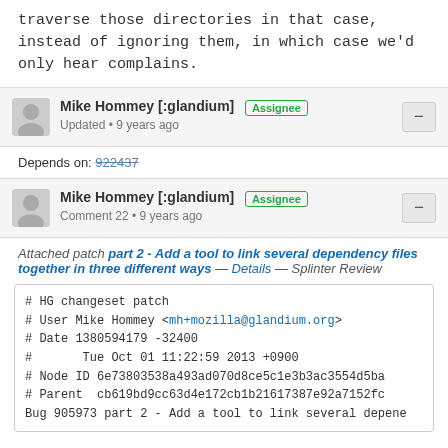traverse those directories in that case, instead of ignoring them, in which case we'd only hear complains.
Mike Hommey [:glandium] Assignee
Updated • 9 years ago
Depends on: 922437
Mike Hommey [:glandium] Assignee
Comment 22 • 9 years ago
Attached patch part 2 - Add a tool to link several dependency files together in three different ways — Details — Splinter Review
# HG changeset patch
# User Mike Hommey <mh+mozilla@glandium.org>
# Date 1380594179 -32400
#       Tue Oct 01 11:22:59 2013 +0900
# Node ID 6e73803538a493ad070d8ce5c1e3b3ac3554d5ba
# Parent  cb619bd9cc63d4e172cb1b21617387e92a7152fc
Bug 905973 part 2 - Add a tool to link several depene